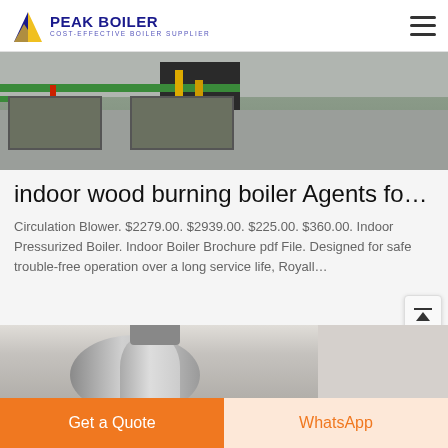PEAK BOILER — COST-EFFECTIVE BOILER SUPPLIER
[Figure (photo): Industrial boiler room interior showing pits, green pipes, red and yellow vertical pipes on a concrete floor]
indoor wood burning boiler Agents fo…
Circulation Blower. $2279.00. $2939.00. $225.00. $360.00. Indoor Pressurized Boiler. Indoor Boiler Brochure pdf File. Designed for safe trouble-free operation over a long service life, Royall…
[Figure (photo): Large industrial boiler unit in a room, cylindrical silver/grey body with green scaffolding on the sides and a duct on top]
Get a Quote
WhatsApp